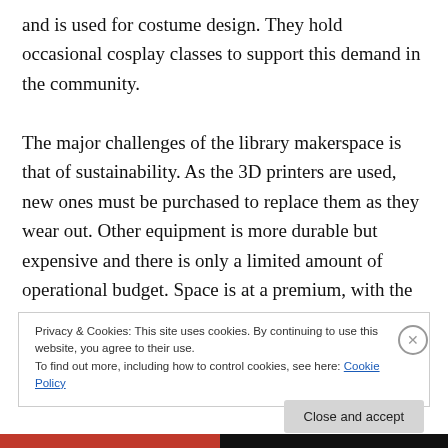and is used for costume design. They hold occasional cosplay classes to support this demand in the community.

The major challenges of the library makerspace is that of sustainability. As the 3D printers are used, new ones must be purchased to replace them as they wear out. Other equipment is more durable but expensive and there is only a limited amount of operational budget. Space is at a premium, with the green screen, lights, and other equipment crammed in his office as the library builds a new auditorium and additional conference room spaces. A
Privacy & Cookies: This site uses cookies. By continuing to use this website, you agree to their use.
To find out more, including how to control cookies, see here: Cookie Policy